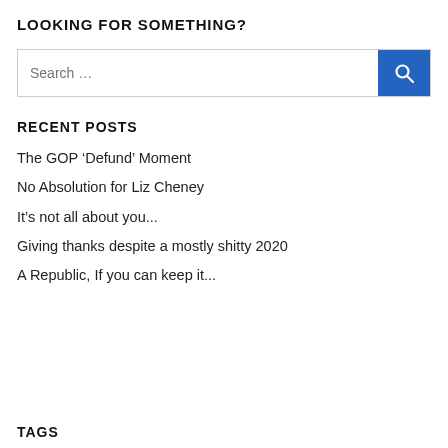LOOKING FOR SOMETHING?
Search ...
RECENT POSTS
The GOP ‘Defund’ Moment
No Absolution for Liz Cheney
It’s not all about you...
Giving thanks despite a mostly shitty 2020
A Republic, If you can keep it...
TAGS